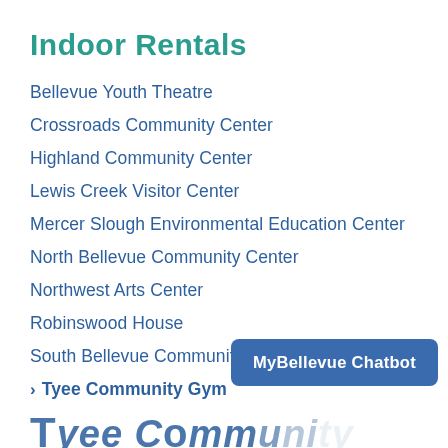Indoor Rentals
Bellevue Youth Theatre
Crossroads Community Center
Highland Community Center
Lewis Creek Visitor Center
Mercer Slough Environmental Education Center
North Bellevue Community Center
Northwest Arts Center
Robinswood House
South Bellevue Community Center
Tyee Community Gym
MyBellevue Chatbot